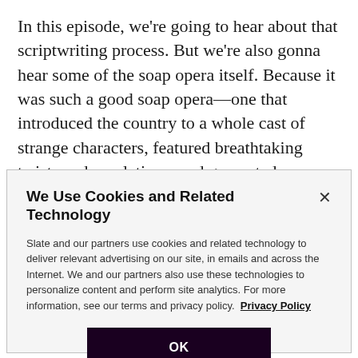In this episode, we're going to hear about that scriptwriting process. But we're also gonna hear some of the soap opera itself. Because it was such a good soap opera—one that introduced the country to a whole cast of strange characters, featured breathtaking twists and revelations, and generated a number of honest-to-goodness pre-internet memes.
We Use Cookies and Related Technology
Slate and our partners use cookies and related technology to deliver relevant advertising on our site, in emails and across the Internet. We and our partners also use these technologies to personalize content and perform site analytics. For more information, see our terms and privacy policy.  Privacy Policy